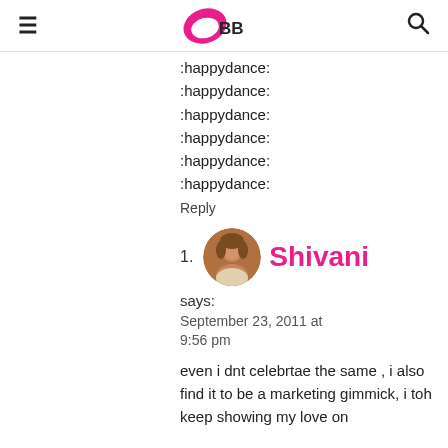IMBB
:happydance:
:happydance:
:happydance:
:happydance:
:happydance:
:happydance:
Reply
1. Shivani says: September 23, 2011 at 9:56 pm even i dnt celebrtae the same , i also find it to be a marketing gimmick, i toh keep showing my love on...